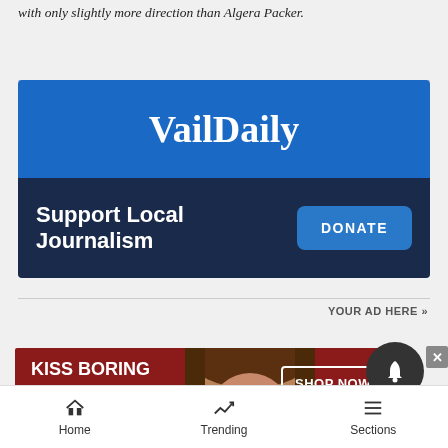with only slightly more direction than Algera Packer.
[Figure (logo): VailDaily banner with blue background showing 'VailDaily' text and 'Support Local Journalism' with a DONATE button]
YOUR AD HERE »
[Figure (photo): Macy's advertisement: KISS BORING LIPS GOODBYE with woman's face and SHOP NOW button with Macy's star logo]
Home  Trending  Sections